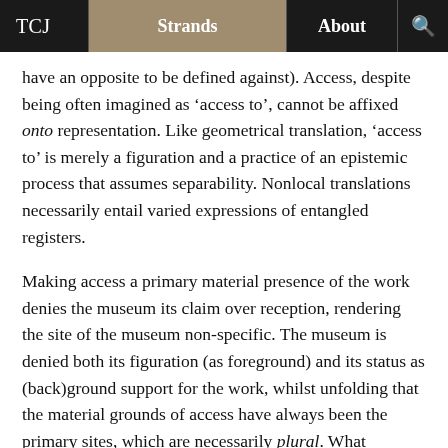TCJ | Strands | About
have an opposite to be defined against). Access, despite being often imagined as ‘access to’, cannot be affixed onto representation. Like geometrical translation, ‘access to’ is merely a figuration and a practice of an epistemic process that assumes separability. Nonlocal translations necessarily entail varied expressions of entangled registers.
Making access a primary material presence of the work denies the museum its claim over reception, rendering the site of the museum non-specific. The museum is denied both its figuration (as foreground) and its status as (back)ground support for the work, whilst unfolding that the material grounds of access have always been the primary sites, which are necessarily plural. What happens when this work is everywhere and nowhere?